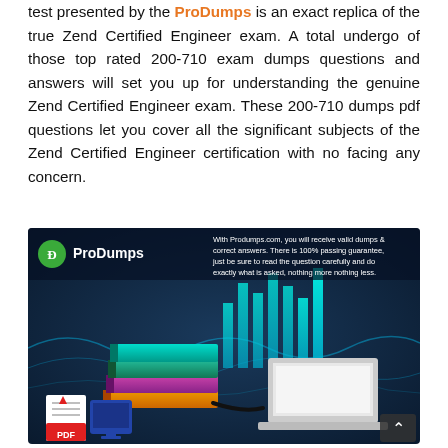test presented by the ProDumps is an exact replica of the true Zend Certified Engineer exam. A total undergo of those top rated 200-710 exam dumps questions and answers will set you up for understanding the genuine Zend Certified Engineer exam. These 200-710 dumps pdf questions let you cover all the significant subjects of the Zend Certified Engineer certification with no facing any concern.
[Figure (infographic): ProDumps promotional banner with logo, books, laptop, and text about valid dumps and 100% passing guarantee. Shows PDF icon in bottom left corner.]